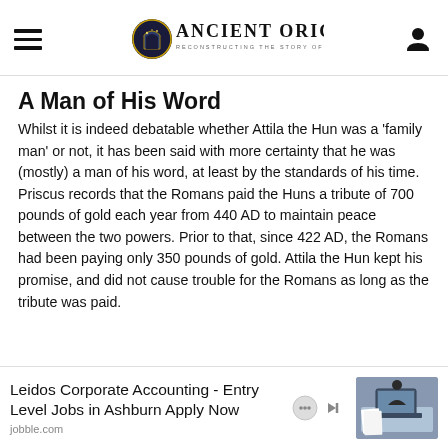Ancient Origins — Reconstructing the story of humanity's past
A Man of His Word
Whilst it is indeed debatable whether Attila the Hun was a 'family man' or not, it has been said with more certainty that he was (mostly) a man of his word, at least by the standards of his time. Priscus records that the Romans paid the Huns a tribute of 700 pounds of gold each year from 440 AD to maintain peace between the two powers. Prior to that, since 422 AD, the Romans had been paying only 350 pounds of gold. Attila the Hun kept his promise, and did not cause trouble for the Romans as long as the tribute was paid.
[Figure (screenshot): Advertisement banner: Leidos Corporate Accounting - Entry Level Jobs in Ashburn Apply Now, jobble.com, with a photo of a person working at a laptop with documents]